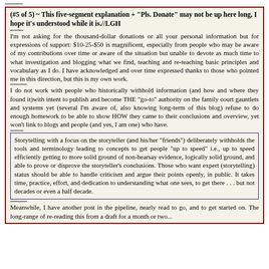(#5 of 5) ~ This five-segment explanation + "Pls. Donate" may not be up here long, I hope it's understood while it is.//LGH
I'm not asking for the thousand-dollar donations or all your personal information but for expressions of support: $10-25-$50 is magnificent, especially from people who may be aware of my contributions over time or aware of the situation but unable to devote as much time to what investigation and blogging what we find, teaching and re-teaching basic principles and vocabulary as I do. I have acknowledged and over time expressed thanks to those who pointed me in this direction, but this is my own work.
I do not work with people who historically withhold information (and how and where they found it)with intent to publish and become THE "go-to" authority on the family court gauntlets and systems yet (several I'm aware of, also knowing long-term of this blog) refuse to do enough homework to be able to show HOW they came to their conclusions and overview, yet won't link to blogs and people (and yes, I am one) who have.
Storytelling with a focus on the storyteller (and his/her "friends") deliberately withholds the tools and terminology leading to concepts to get people "up to speed" i.e., up to speed efficiently getting to more solid ground of non-hearsay evidence, logically solid ground, and able to prove or disprove the storyteller's conclusions. Those who want expert (storytelling) status should be able to handle criticism and argue their points openly, in public. It takes time, practice, effort, and dedication to understanding what one sees, to get there . . . but not decades or even a half decade.
Meanwhile, I have another post in the pipeline, nearly read to go, and to get started on. The long-range of re-reading this from a draft for a month or two...